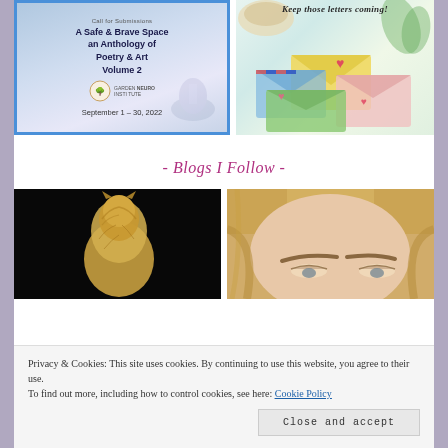[Figure (illustration): Book cover for 'A Safe & Brave Space an Anthology of Poetry & Art Volume 2', with blue border, September 1-30, 2022, Garden Neuro Institute logo]
[Figure (illustration): Colorful illustration with envelopes, letters with hearts, and text 'Keep those letters coming!']
- Blogs I Follow -
[Figure (photo): Photo of a golden/amber colored cat or animal sculpture on black background]
[Figure (photo): Close-up photo of a blonde woman's face/forehead]
Privacy & Cookies: This site uses cookies. By continuing to use this website, you agree to their use.
To find out more, including how to control cookies, see here: Cookie Policy
Close and accept